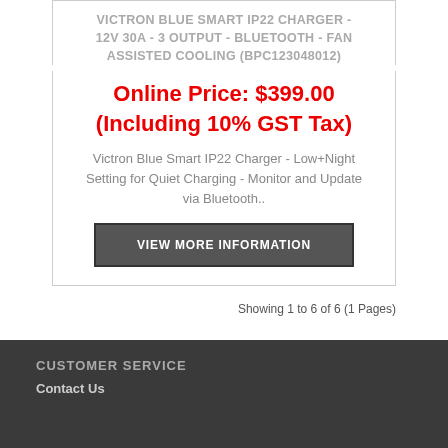VICTRON BLUE SMART IP22 CHARGER - 12V 30A - 3 OUTPUT - BLUETOOTH - FAN ASSISTED COOLING (BPC123048012)
Online Price: $399.00 (Including 10% GST Tax)
Victron Blue Smart IP22 Charger - Low+Night Setting for Quiet Charging - Monitor and Update via Bluetooth..
VIEW MORE INFORMATION
Showing 1 to 6 of 6 (1 Pages)
CUSTOMER SERVICE
Contact Us